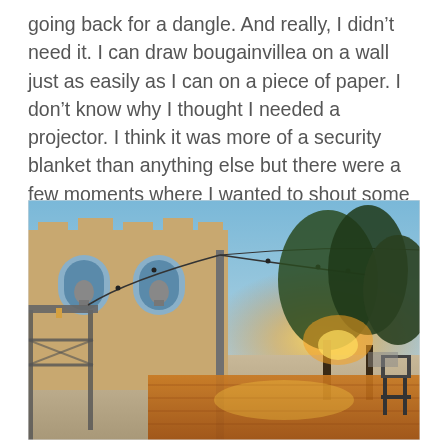going back for a dangle. And really, I didn't need it. I can draw bougainvillea on a wall just as easily as I can on a piece of paper. I don't know why I thought I needed a projector. I think it was more of a security blanket than anything else but there were a few moments where I wanted to shout some bad words.
[Figure (photo): Outdoor courtyard at sunset showing a tan/adobe-style building with arched bell openings, scaffolding with bells, a central vertical pole with string lights stretching overhead, trees silhouetted against a blue sky with warm golden sunset light, and a wooden platform/stage in the foreground with a chair to the right.]